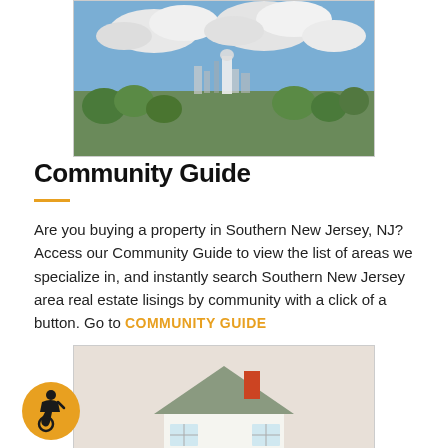[Figure (photo): Aerial or street-level view of a town with cloudy sky — Southern New Jersey cityscape]
Community Guide
Are you buying a property in Southern New Jersey, NJ? Access our Community Guide to view the list of areas we specialize in, and instantly search Southern New Jersey area real estate lisings by community with a click of a button. Go to COMMUNITY GUIDE
[Figure (photo): Hand holding a small model house with grey roof and red chimney]
[Figure (illustration): Wheelchair accessibility icon — person in wheelchair on orange circle background]